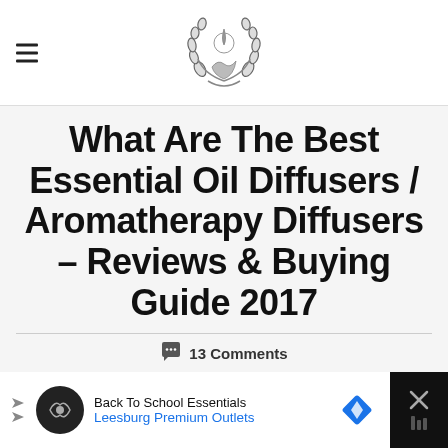Navigation header with hamburger menu and site logo
What Are The Best Essential Oil Diffusers / Aromatherapy Diffusers – Reviews & Buying Guide 2017
13 Comments
[Figure (other): Advertisement banner: Back To School Essentials - Leesburg Premium Outlets]